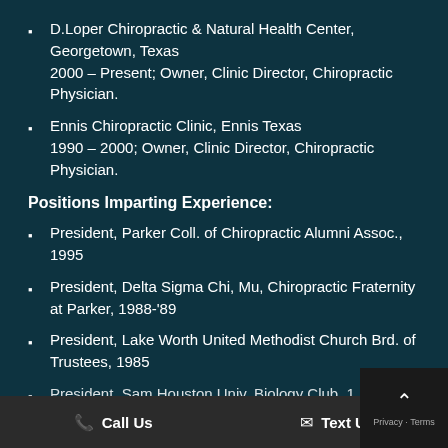D.Loper Chiropractic & Natural Health Center, Georgetown, Texas 2000 – Present; Owner, Clinic Director, Chiropractic Physician.
Ennis Chiropractic Clinic, Ennis Texas 1990 – 2000; Owner, Clinic Director, Chiropractic Physician.
Positions Imparting Experience:
President, Parker Coll. of Chiropractic Alumni Assoc., 1995
President, Delta Sigma Chi, Mu, Chiropractic Fraternity at Parker, 1988-'89
President, Lake Worth United Methodist Church Brd. of Trustees, 1985
President, Sam Houston Univ. Biology Club, 1...
Sam... rian...
Sam... ...